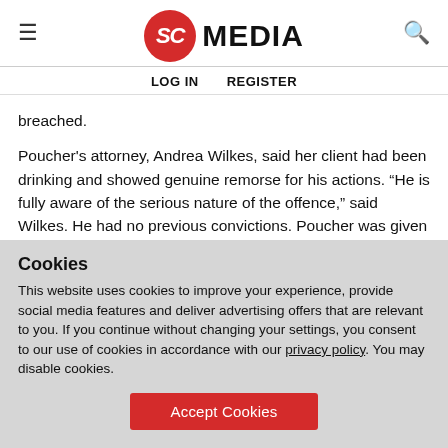SC MEDIA — LOG IN   REGISTER
breached.
Poucher's attorney, Andrea Wilkes, said her client had been drinking and showed genuine remorse for his actions. “He is fully aware of the serious nature of the offence,” said Wilkes. He had no previous convictions. Poucher was given 100 hours of unpaid work, five days of rehabilitation and was ordered to pay £200 compensation, £85 costs and a £150
Cookies
This website uses cookies to improve your experience, provide social media features and deliver advertising offers that are relevant to you. If you continue without changing your settings, you consent to our use of cookies in accordance with our privacy policy. You may disable cookies.
Accept Cookies